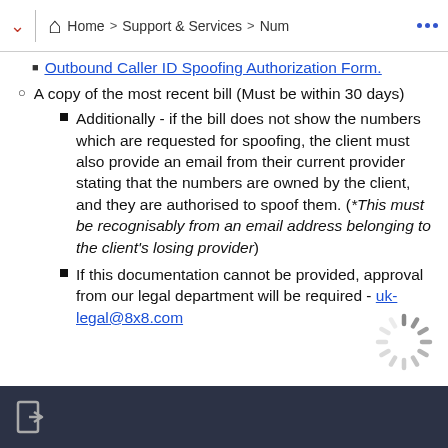Home > Support & Services > Num
Outbound Caller ID Spoofing Authorization Form.
A copy of the most recent bill (Must be within 30 days)
Additionally - if the bill does not show the numbers which are requested for spoofing, the client must also provide an email from their current provider stating that the numbers are owned by the client, and they are authorised to spoof them. (*This must be recognisably from an email address belonging to the client's losing provider)
If this documentation cannot be provided, approval from our legal department will be required - uk-legal@8x8.com